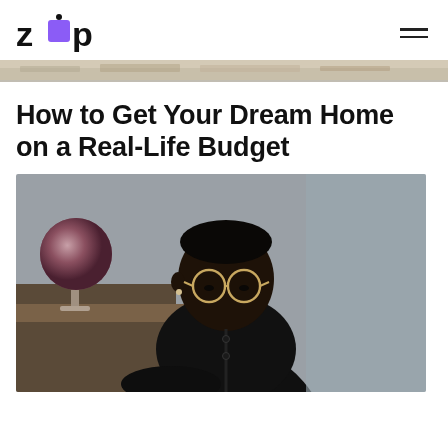zip
[Figure (photo): Partial hero image strip at top of article, muted tones]
How to Get Your Dream Home on a Real-Life Budget
[Figure (photo): A young Black man wearing glasses and a black long-sleeve shirt, looking down, working at a desk. A decorative globe is visible in the background to the left.]